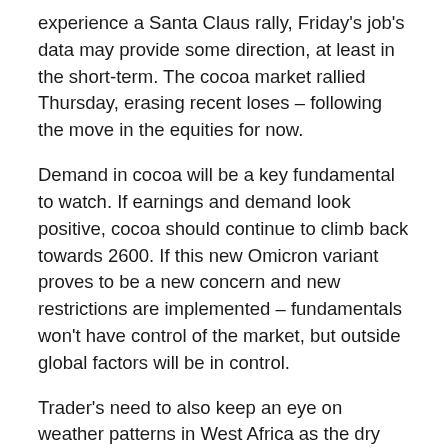experience a Santa Claus rally, Friday's job's data may provide some direction, at least in the short-term. The cocoa market rallied Thursday, erasing recent loses – following the move in the equities for now.
Demand in cocoa will be a key fundamental to watch. If earnings and demand look positive, cocoa should continue to climb back towards 2600. If this new Omicron variant proves to be a new concern and new restrictions are implemented – fundamentals won't have control of the market, but outside global factors will be in control.
Trader's need to also keep an eye on weather patterns in West Africa as the dry season approaches. With the current expectations in the coming weeks, it looks like prices should find support.
For now, traders should take a wait and see approach in